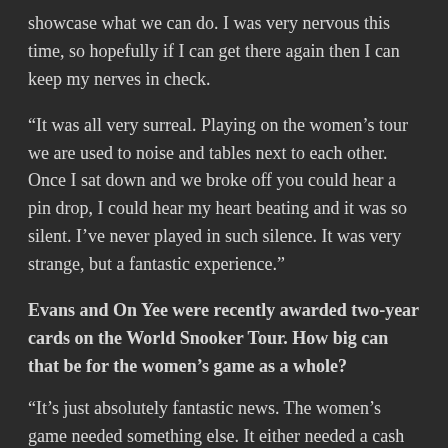showcase what we can do. I was very nervous this time, so hopefully if I can get there again then I can keep my nerves in check.
“It was all very surreal. Playing on the women’s tour we are used to noise and tables next to each other. Once I sat down and we broke off you could hear a pin drop, I could hear my heart beating and it was so silent. I’ve never played in such silence. It was very strange, but a fantastic experience.”
Evans and On Yee were recently awarded two-year cards on the World Snooker Tour. How big can that be for the women’s game as a whole?
“It’s just absolutely fantastic news. The women’s game needed something else. It either needed a cash injection to increase participation or to have the carrot of being on the